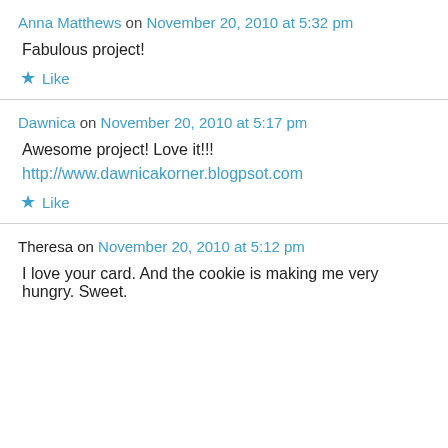Anna Matthews on November 20, 2010 at 5:32 pm
Fabulous project!
★ Like
Dawnica on November 20, 2010 at 5:17 pm
Awesome project! Love it!!!
http://www.dawnicakorner.blogpsot.com
★ Like
Theresa on November 20, 2010 at 5:12 pm
I love your card. And the cookie is making me very hungry. Sweet.